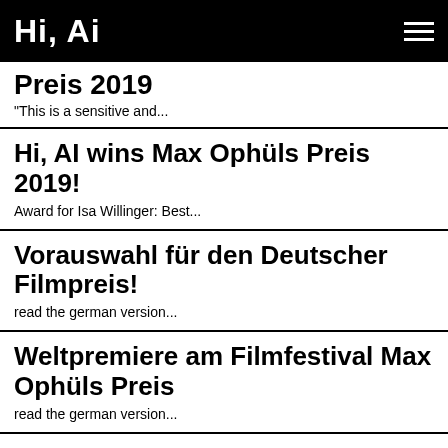Hi, Ai
Preis 2019
"This is a sensitive and...
Hi, AI wins Max Ophüls Preis 2019!
Award for Isa Willinger: Best...
Vorauswahl für den Deutscher Filmpreis!
read the german version...
Weltpremiere am Filmfestival Max Ophüls Preis
read the german version...